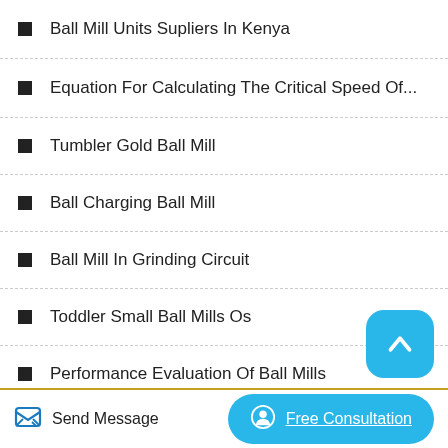Ball Mill Units Supliers In Kenya
Equation For Calculating The Critical Speed Of...
Tumbler Gold Ball Mill
Ball Charging Ball Mill
Ball Mill In Grinding Circuit
Toddler Small Ball Mills Os
Performance Evaluation Of Ball Mills
Send Message   Free Consultation